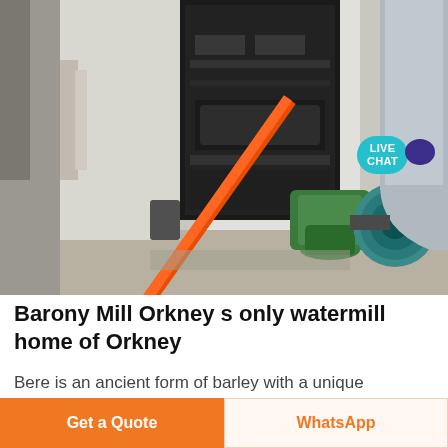[Figure (photo): Industrial machinery interior showing a large black vertical mill/grinder, green pump equipment, orange scaffolding pole, silver ventilation ducts, and other industrial equipment inside a building with white walls and overhead lighting.]
Barony Mill Orkney s only watermill home of Orkney
Bere is an ancient form of barley with a unique appearance and taste grown and milled in Orkney